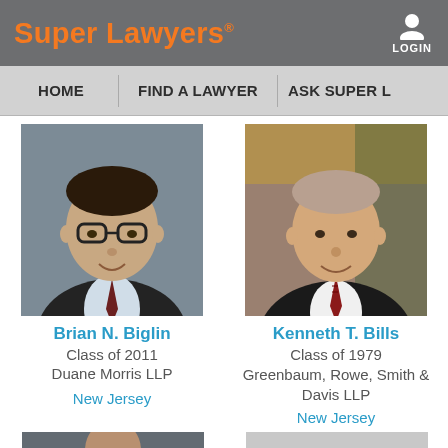Super Lawyers
LOGIN
HOME | FIND A LAWYER | ASK SUPER L
[Figure (photo): Professional headshot of Brian N. Biglin, man with glasses in dark suit]
Brian N. Biglin
Class of 2011
Duane Morris LLP
New Jersey
[Figure (photo): Professional headshot of Kenneth T. Bills, man in dark suit and red tie]
Kenneth T. Bills
Class of 1979
Greenbaum, Rowe, Smith & Davis LLP
New Jersey
[Figure (photo): Partial headshot at bottom left, person partially visible]
[Figure (photo): Partial photo at bottom right, gray toned]